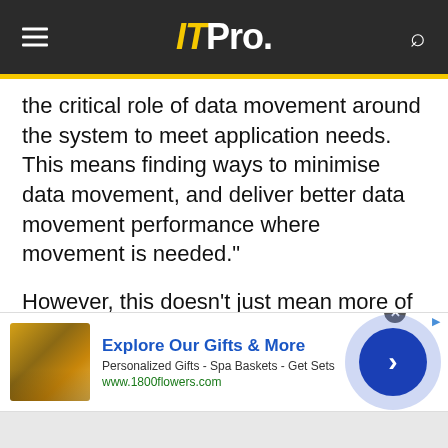ITPro.
the critical role of data movement around the system to meet application needs. This means finding ways to minimise data movement, and deliver better data movement performance where movement is needed."
However, this doesn't just mean more of the same, and there will be an increasing role for software.
Advertisement - Article continues below
[Figure (other): Advertisement banner for 1800flowers.com showing gift products with text 'Explore Our Gifts & More', 'Personalized Gifts - Spa Baskets - Get Sets', 'www.1800flowers.com']